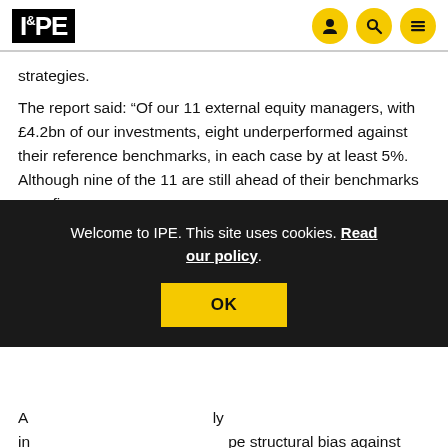IPE
strategies.
The report said: “Of our 11 external equity managers, with £4.2bn of our investments, eight underperformed against their reference benchmarks, in each case by at least 5%. Although nine of the 11 are still ahead of their benchmarks over fi…
A… ly in… pe… structural bias against mega-cap companies, performance measurement periods that engender pro-cyclical behaviour; and the accelerating shift from active to passive index management.
Welcome to IPE. This site uses cookies. Read our policy.